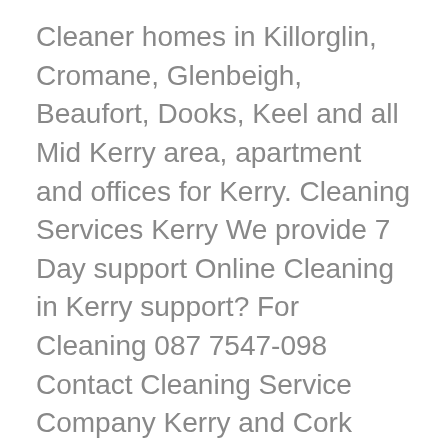Cleaner homes in Killorglin, Cromane, Glenbeigh, Beaufort, Dooks, Keel and all Mid Kerry area, apartment and offices for Kerry. Cleaning Services Kerry We provide 7 Day support Online Cleaning in Kerry support? For Cleaning 087 7547-098 Contact Cleaning Service Company Kerry and Cork Cleaning homes, apartment and offices for Kerry & Cork Would you like [...]
Affordable Better Website Design
November 1, 2015 in business websites Ireland,